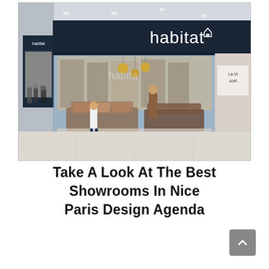[Figure (photo): Exterior view of a Habitat furniture store inside a shopping mall. The storefront features large glass windows showing furniture displays including sofas and decor items. The store sign reads 'habitat' in white letters on a dark navy background. A second smaller Habitat store is visible in the background. People are walking in the mall corridor.]
Take A Look At The Best Showrooms In Nice Paris Design Agenda